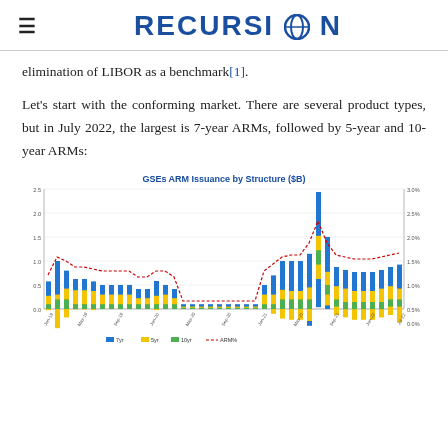RECURSION
elimination of LIBOR as a benchmark[1].
Let's start with the conforming market. There are several product types, but in July 2022, the largest is 7-year ARMs, followed by 5-year and 10-year ARMs:
[Figure (stacked-bar-chart): GSEs ARM Issuance by Structure ($B)]